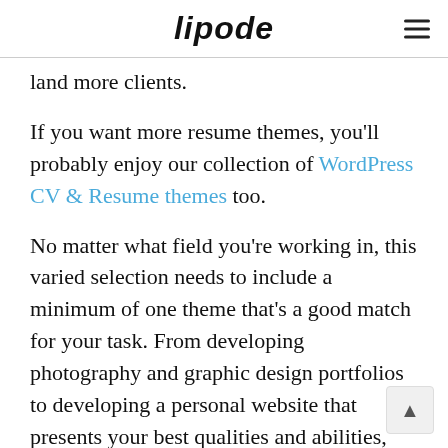lipode
land more clients.
If you want more resume themes, you'll probably enjoy our collection of WordPress CV & Resume themes too.
No matter what field you're working in, this varied selection needs to include a minimum of one theme that's a good match for your task. From developing photography and graphic design portfolios to developing a personal website that presents your best qualities and abilities, there are plenty of